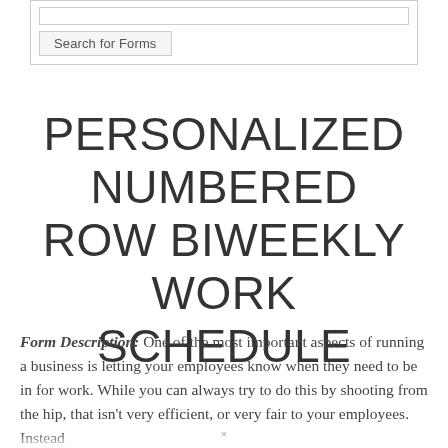[Figure (screenshot): Search for Forms widget with text input and a 'Search for Forms' button]
PERSONALIZED NUMBERED ROW BIWEEKLY WORK SCHEDULE
Form Description: One of the most important aspects of running a business is letting your employees know when they need to be in for work. While you can always try to do this by shooting from the hip, that isn't very efficient, or very fair to your employees. Instead